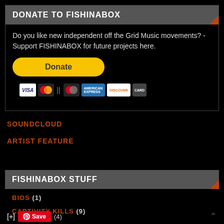DONATE TO FISHINABOX
Do you like new independent off the Grid Music movements? - Support FISHINABOX for future projects here.
[Figure (other): PayPal Donate button with credit card icons (Visa, Mastercard, American Express, Discover)]
SOUNDCLOUD
ARTIST FEATURE
FISHINABOX STUFF
BIOS (1)
CAPTIVITY KILLS (9)
[+] Save (4)